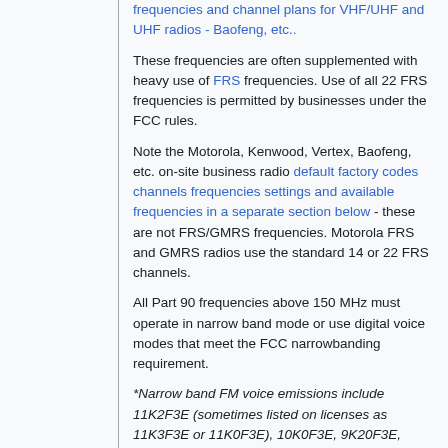frequencies and channel plans for VHF/UHF and UHF radios - Baofeng, etc..
These frequencies are often supplemented with heavy use of FRS frequencies. Use of all 22 FRS frequencies is permitted by businesses under the FCC rules.
Note the Motorola, Kenwood, Vertex, Baofeng, etc. on-site business radio default factory codes channels frequencies settings and available frequencies in a separate section below - these are not FRS/GMRS frequencies. Motorola FRS and GMRS radios use the standard 14 or 22 FRS channels.
All Part 90 frequencies above 150 MHz must operate in narrow band mode or use digital voice modes that meet the FCC narrowbanding requirement.
*Narrow band FM voice emissions include 11K2F3E (sometimes listed on licenses as 11K3F3E or 11K0F3E), 10K0F3E, 9K20F3E, 9K10F3E and 6K00F3E.
Narrow FM voice/data (11K3F3E,